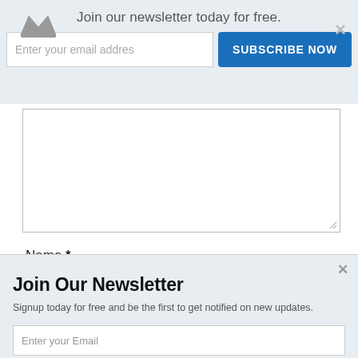Join our newsletter today for free.
[Figure (screenshot): Email input field with placeholder 'Enter your email address' and a blue 'SUBSCRIBE NOW' button]
[Figure (screenshot): Large textarea form field (resizable)]
Name *
[Figure (screenshot): Name text input field]
Email *
Join Our Newsletter
Signup today for free and be the first to get notified on new updates.
[Figure (screenshot): Email input with placeholder 'Enter your Email']
[Figure (screenshot): Blue 'SUBSCRIBE NOW' button]